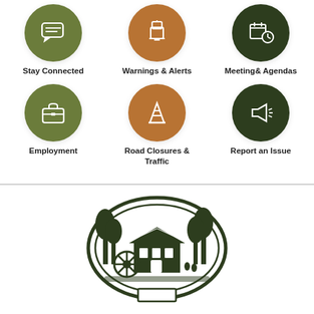[Figure (infographic): Six icon buttons arranged in a 2-row, 3-column grid. Row 1: Stay Connected (green circle with chat bubble icon), Warnings & Alerts (orange circle with bell/alarm icon), Meeting & Agendas (dark green circle with calendar/clock icon). Row 2: Employment (green circle with briefcase icon), Road Closures & Traffic (orange circle with traffic cone icon), Report an Issue (dark green circle with megaphone icon).]
[Figure (logo): Dark green oval logo illustration of a historic grist mill with a water wheel, surrounded by trees, set within an oval frame with a banner at the bottom.]